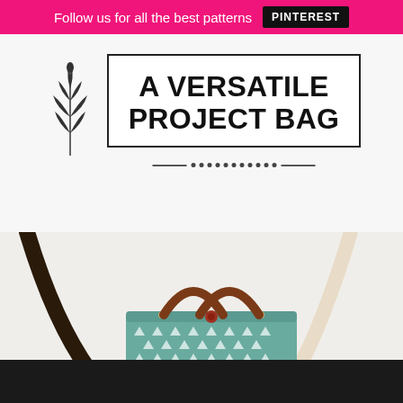Follow us for all the best patterns  PINTEREST
A VERSATILE PROJECT BAG
[Figure (photo): A teal fabric tote bag with white triangle pattern and a red button closure, with brown leather handles. Dark and cream bag handles are visible in the foreground. Bag sits on a white wooden surface.]